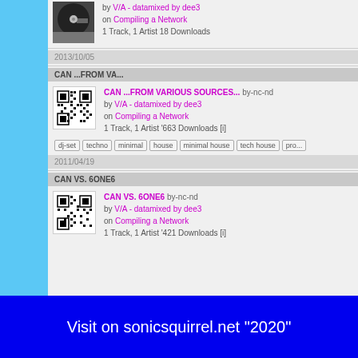by V/A - datamixed by dee3 on Compiling a Network
1 Track, 1 Artist 18 Downloads
2013/10/05
CAN ...FROM VA...
CAN ...FROM VARIOUS SOURCES... by-nc-nd
by V/A - datamixed by dee3
on Compiling a Network
1 Track, 1 Artist '663 Downloads [i]
dj-set
techno
minimal
house
minimal house
tech house
pro...
2011/04/19
CAN VS. 6ONE6
CAN VS. 6ONE6 by-nc-nd
by V/A - datamixed by dee3
on Compiling a Network
1 Track, 1 Artist '421 Downloads [i]
Visit on sonicsquirrel.net "2020"